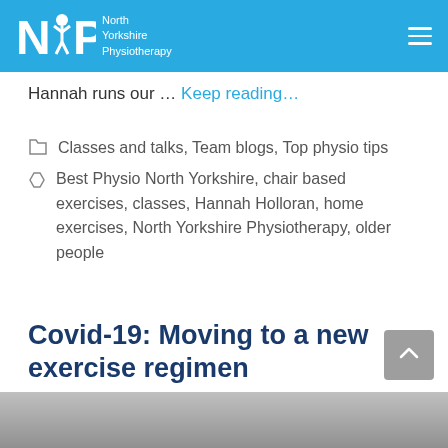NYP North Yorkshire Physiotherapy
Hannah runs our … Keep reading...
Classes and talks, Team blogs, Top physio tips
Best Physio North Yorkshire, chair based exercises, classes, Hannah Holloran, home exercises, North Yorkshire Physiotherapy, older people
Covid-19: Moving to a new exercise regimen
[Figure (photo): Partial photo visible at bottom of page]